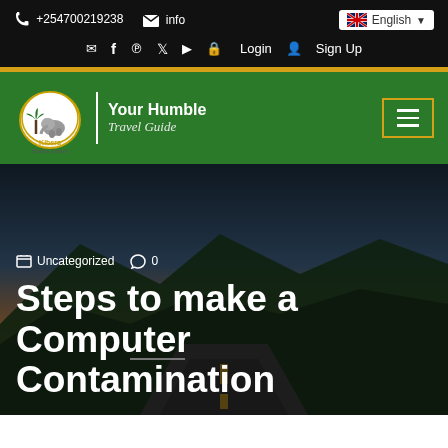+254700219238   info@   English
Login   Sign Up
[Figure (logo): Kibera Holiday Safaris logo with palm trees and elephant in circular emblem, green navigation bar with tagline 'Your Humble Travel Guide' and hamburger menu]
Uncategorized   0
Steps to make a Computer Contamination